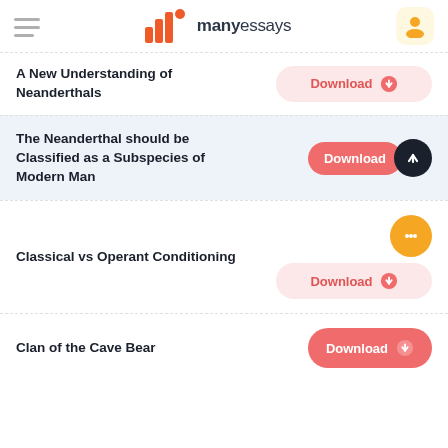manyessays
A New Understanding of Neanderthals
The Neanderthal should be Classified as a Subspecies of Modern Man
Classical vs Operant Conditioning
Clan of the Cave Bear